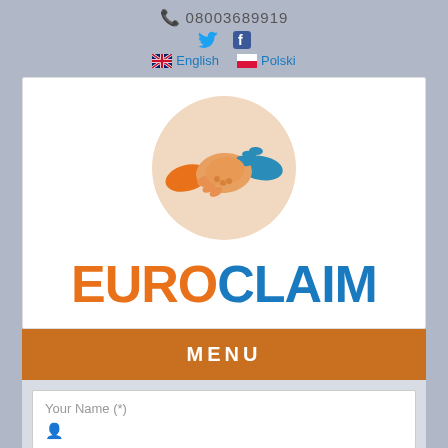08003689919
[Figure (logo): EuroClaim logo with handshake icon in orange and blue inside a beige circle, with EURO in orange and CLAIM in blue large bold text]
MENU
Your Name (*)
Your Email (*)